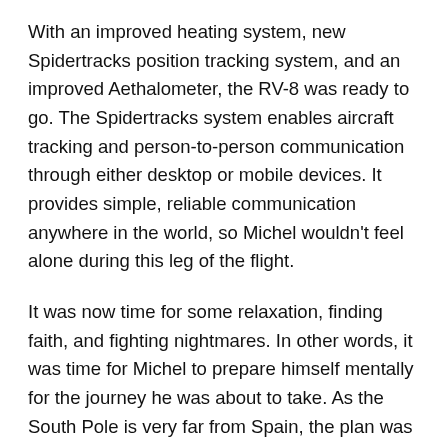With an improved heating system, new Spidertracks position tracking system, and an improved Aethalometer, the RV-8 was ready to go. The Spidertracks system enables aircraft tracking and person-to-person communication through either desktop or mobile devices. It provides simple, reliable communication anywhere in the world, so Michel wouldn't feel alone during this leg of the flight.
It was now time for some relaxation, finding faith, and fighting nightmares. In other words, it was time for Michel to prepare himself mentally for the journey he was about to take. As the South Pole is very far from Spain, the plan was to depart on October 1 and fly over the Mediterranean, Africa, the Indian Ocean, Australia, and finally to the Antarctic. No other single-pilot aircraft weighing less than 3307 pounds (1500 kilograms) had done that before, but it was time for Michel to prove the impossible.